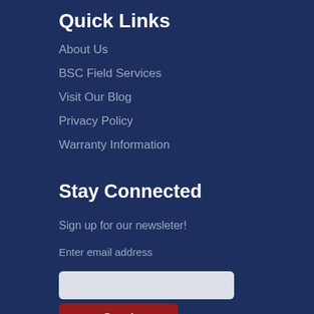Quick Links
About Us
BSC Field Services
Visit Our Blog
Privacy Policy
Warranty Information
Stay Connected
Sign up for our newsleter!
Enter email address
Send